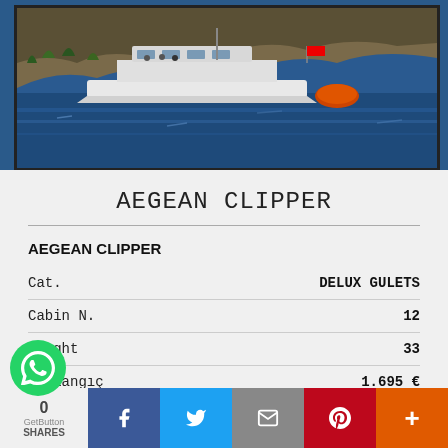[Figure (photo): A white gulet/motor yacht boat on blue water near a rocky hillside, with a Turkish flag visible. Framed with a dark border.]
AEGEAN CLIPPER
AEGEAN CLIPPER
| Attribute | Value |
| --- | --- |
| Cat. | DELUX GULETS |
| Cabin N. | 12 |
| Lenght | 33 |
| Başlangıç | 1.695 € |
| Year B. | 1999 |
| Guests Num. |  |